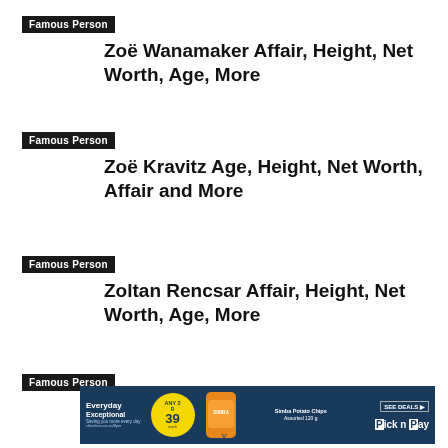Famous Person
Zoë Wanamaker Affair, Height, Net Worth, Age, More
Famous Person
Zoë Kravitz Age, Height, Net Worth, Affair and More
Famous Person
Zoltan Rencsar Affair, Height, Net Worth, Age, More
Famous Person
Zoe Saldana Affair, Height, Net Worth,
[Figure (other): Pick n Pay advertisement banner: Everyday Exceptional, Any 2 R39, Simba Potato Chips Assorted 120g, SEE DEALS button, Pick n Pay logo]